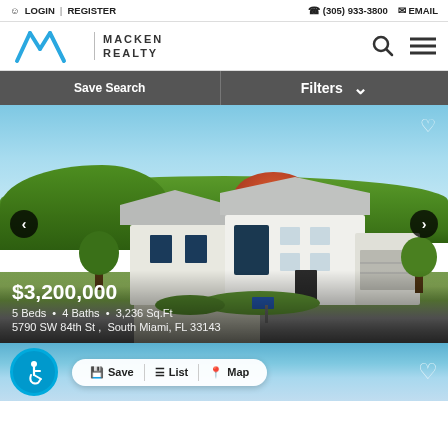LOGIN | REGISTER  (305) 933-3800  EMAIL
[Figure (logo): Macken Realty logo with stylized M and company name]
Save Search
Filters
[Figure (photo): Aerial view of a white modern house with grey roof surrounded by green trees in South Miami]
$3,200,000
5 Beds • 4 Baths • 3,236 Sq.Ft
5790 SW 84th St, South Miami, FL 33143
Save  List  Map